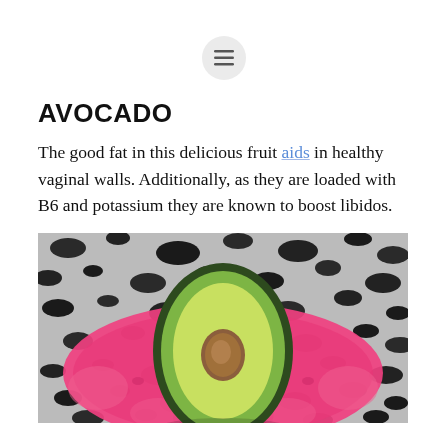[Figure (other): Hamburger menu icon button in a circular gray background, centered at top of page]
AVOCADO
The good fat in this delicious fruit aids in healthy vaginal walls. Additionally, as they are loaded with B6 and potassium they are known to boost libidos.
[Figure (photo): A halved avocado with pit visible, placed on a bright pink lace fabric, on a black and white speckled background]